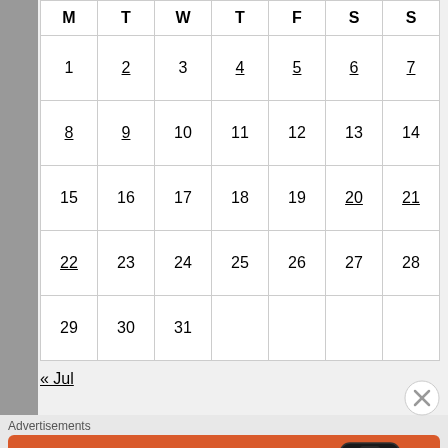| M | T | W | T | F | S | S |
| --- | --- | --- | --- | --- | --- | --- |
| 1 | 2 | 3 | 4 | 5 | 6 | 7 |
| 8 | 9 | 10 | 11 | 12 | 13 | 14 |
| 15 | 16 | 17 | 18 | 19 | 20 | 21 |
| 22 | 23 | 24 | 25 | 26 | 27 | 28 |
| 29 | 30 | 31 |  |  |  |  |
« Jul
Advertisements
[Figure (infographic): DuckDuckGo advertisement banner with orange background, phone image and text: Search, browse, and email with more privacy. All in One Free App.]